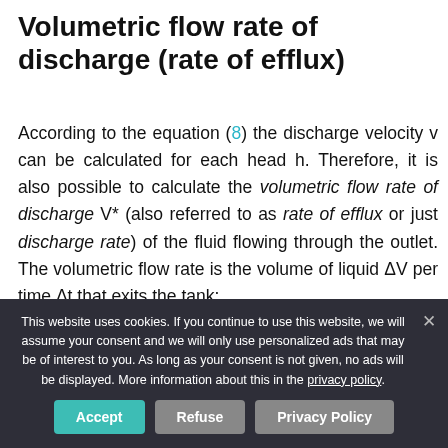Volumetric flow rate of discharge (rate of efflux)
According to the equation (8) the discharge velocity v can be calculated for each head h. Therefore, it is also possible to calculate the volumetric flow rate of discharge V* (also referred to as rate of efflux or just discharge rate) of the fluid flowing through the outlet. The volumetric flow rate is the volume of liquid ΔV per time Δt that exits the tank:
This website uses cookies. If you continue to use this website, we will assume your consent and we will only use personalized ads that may be of interest to you. As long as your consent is not given, no ads will be displayed. More information about this in the privacy policy.